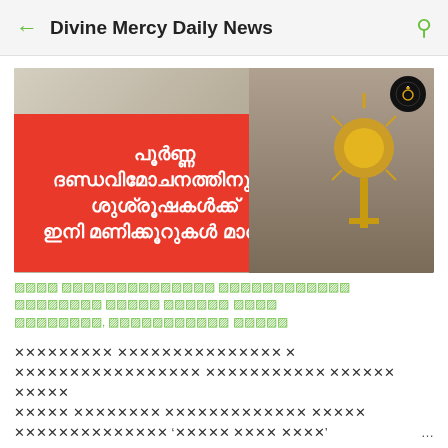Divine Mercy Daily News
[Figure (photo): News article banner image showing a Catholic priest in purple vestments holding a golden monstrance. A red overlay on the left contains Malayalam text reading: പൂർണ്ണ ദണ്ഡവിമോചനത്തിനുള്ള ശുശ്രൂഷകൾക്ക് ഇനി മണിക്കൂറുകൾ മാത്രം]
Malayalam article metadata text (rendered as placeholder squares due to font unavailability)
Malayalam article body text (rendered as placeholder squares due to font unavailability)